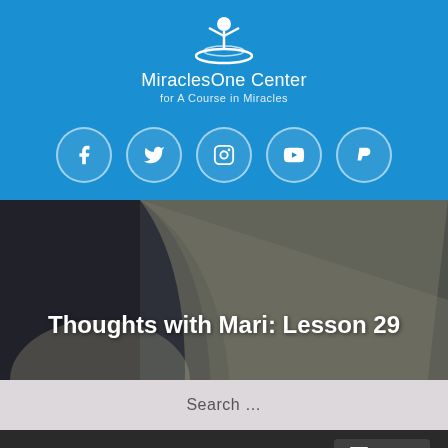[Figure (logo): MiraclesOne Center logo — white figure with arms raised inside an oval, on blue background]
MiraclesOne Center
for A Course in Miracles
[Figure (infographic): Social media icon circles: Facebook, Twitter, Instagram, YouTube, PayPal — white icons on semi-transparent circles over blue background]
[Figure (photo): Close-up photograph of open book pages with a white rose, overlaid with dark blue tint]
Thoughts with Mari: Lesson 29
Search …
Menu